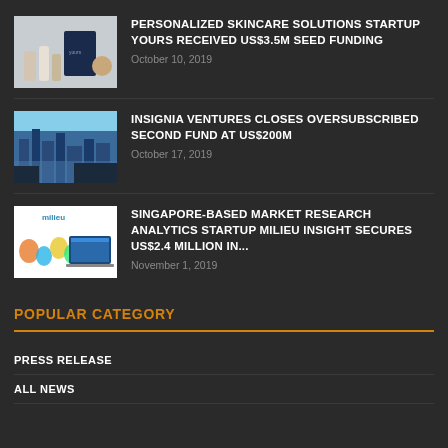[Figure (photo): Skincare product bottles and packaging]
PERSONALIZED SKINCARE SOLUTIONS STARTUP YOURS RECEIVED US$3.5M SEED FUNDING
October 10, 2019
[Figure (photo): City skyline aerial view]
INSIGNIA VENTURES CLOSES OVERSUBSCRIBED SECOND FUND AT US$200M
October 17, 2019
[Figure (photo): Milieu market research analytics startup logo and website]
SINGAPORE-BASED MARKET RESEARCH ANALYTICS STARTUP MILIEU INSIGHT SECURES US$2.4 MILLION IN...
November 1, 2019
POPULAR CATEGORY
PRESS RELEASE
ALL NEWS